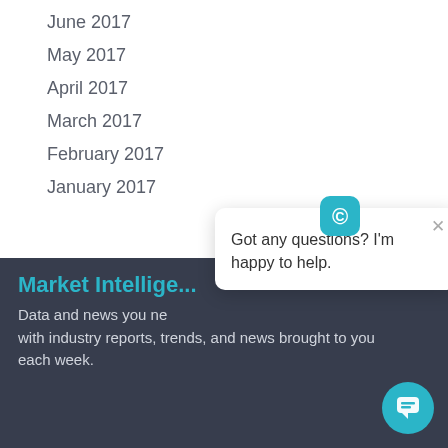June 2017
May 2017
April 2017
March 2017
February 2017
January 2017
Market Intellige...
Data and news you ne... with industry reports, trends, and news brought to you each week.
[Figure (screenshot): Chat popup widget with teal circular icon logo at top center, X close button, and message 'Got any questions? I'm happy to help.']